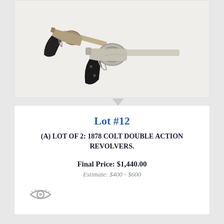[Figure (photo): Two antique revolvers photographed on white background - 1878 Colt Double Action Revolvers with dark grips]
Lot #12
(A) LOT OF 2: 1878 COLT DOUBLE ACTION REVOLVERS.
Final Price: $1,440.00
Estimate: $400 - $600